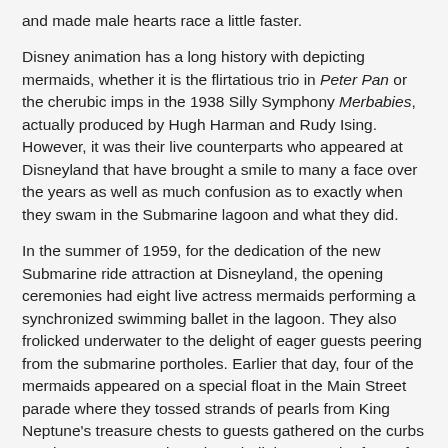and made male hearts race a little faster.
Disney animation has a long history with depicting mermaids, whether it is the flirtatious trio in Peter Pan or the cherubic imps in the 1938 Silly Symphony Merbabies, actually produced by Hugh Harman and Rudy Ising. However, it was their live counterparts who appeared at Disneyland that have brought a smile to many a face over the years as well as much confusion as to exactly when they swam in the Submarine lagoon and what they did.
In the summer of 1959, for the dedication of the new Submarine ride attraction at Disneyland, the opening ceremonies had eight live actress mermaids performing a synchronized swimming ballet in the lagoon. They also frolicked underwater to the delight of eager guests peering from the submarine portholes. Earlier that day, four of the mermaids appeared on a special float in the Main Street parade where they tossed strands of pearls from King Neptune's treasure chests to guests gathered on the curbs as King Neptune sat in a giant shell throne at the front of the float. These events were captured by movie cameras for the ABC television special, the live action film short Gala Day at Disneyland and in other Disney film publicity.